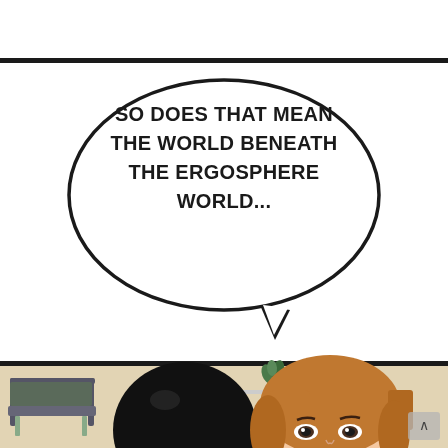[Figure (illustration): Manga/webtoon page with two panels. Top panel (white background) contains a speech bubble with text. Bottom panel shows two anime characters (one with black hair, one with brown hair) in a room setting with a chair and small table visible.]
SO DOES THAT MEAN THE WORLD BENEATH THE ERGOSPHERE WORLD...